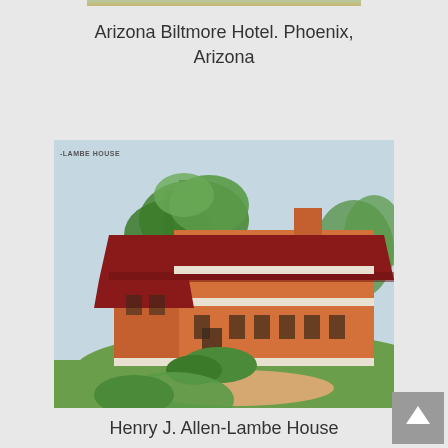Arizona Biltmore Hotel. Phoenix, Arizona
[Figure (illustration): Digital illustration of the Henry J. Allen-Lambe House, a Prairie-style building with orange brick walls, red overhanging roof, surrounded by trees and green lawn. Label '-LAMBE HOUSE' in upper left corner.]
Henry J. Allen-Lambe House